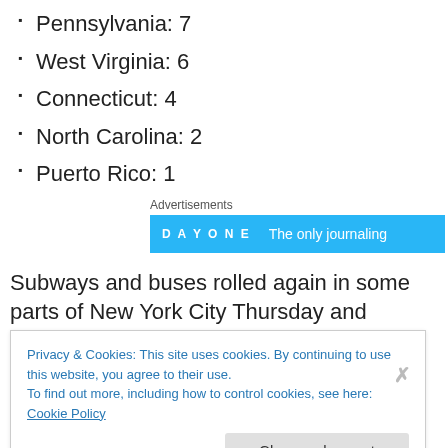Pennsylvania: 7
West Virginia: 6
Connecticut: 4
North Carolina: 2
Puerto Rico: 1
[Figure (screenshot): Advertisements banner showing DAY ONE logo and text 'The only journaling']
Subways and buses rolled again in some parts of New York City Thursday and mandatory water restrictions were
Privacy & Cookies: This site uses cookies. By continuing to use this website, you agree to their use.
To find out more, including how to control cookies, see here: Cookie Policy